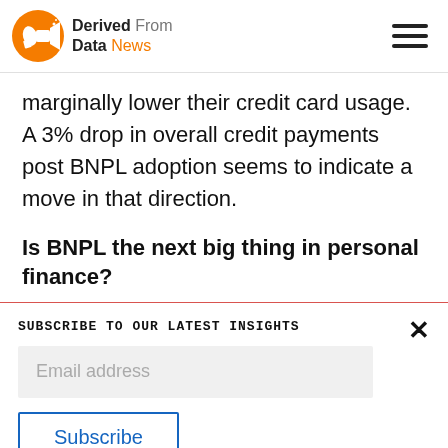Derived From Data News
marginally lower their credit card usage. A 3% drop in overall credit payments post BNPL adoption seems to indicate a move in that direction.
Is BNPL the next big thing in personal finance?
SUBSCRIBE TO OUR LATEST INSIGHTS
Email address
Subscribe